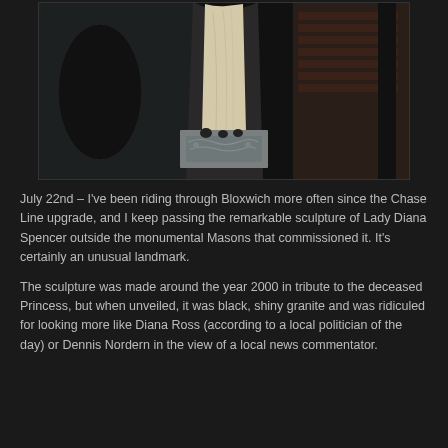[Figure (photo): A photograph of a pale stone sculpture of Lady Diana Spencer displayed outside a monumental masons shop. The sculpture is a full-length figure in a flowing white/cream gown on a decorative stone plinth with carved relief decoration. The background shows glass windows and brick walls of a building, with a dark setting.]
July 22nd – I've been riding through Bloxwich more often since the Chase Line upgrade, and I keep passing the remarkable sculpture of Lady Diana Spencer outside the monumental Masons that commissioned it. It's certainly an unusual landmark.
The sculpture was made around the year 2000 in tribute to the deceased Princess, but when unveiled, it was black, shiny granite and was ridiculed for looking more like Diana Ross (according to a local politician of the day) or Dennis Nordern in the view of a local news commentator.